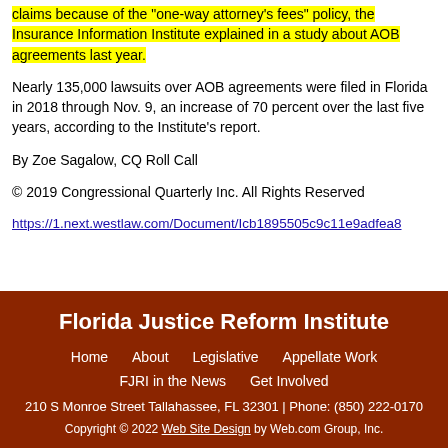claims because of the 'one-way attorney's fees' policy, the Insurance Information Institute explained in a study about AOB agreements last year.
Nearly 135,000 lawsuits over AOB agreements were filed in Florida in 2018 through Nov. 9, an increase of 70 percent over the last five years, according to the Institute's report.
By Zoe Sagalow, CQ Roll Call
© 2019 Congressional Quarterly Inc. All Rights Reserved
https://1.next.westlaw.com/Document/Icb1895505c9c11e9adfea8...
Florida Justice Reform Institute | Home | About | Legislative | Appellate Work | FJRI in the News | Get Involved | 210 S Monroe Street Tallahassee, FL 32301 | Phone: (850) 222-0170 | Copyright © 2022 Web Site Design by Web.com Group, Inc.